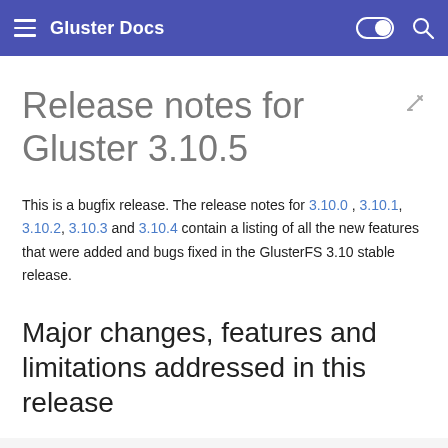Gluster Docs
Release notes for Gluster 3.10.5
This is a bugfix release. The release notes for 3.10.0 , 3.10.1, 3.10.2, 3.10.3 and 3.10.4 contain a listing of all the new features that were added and bugs fixed in the GlusterFS 3.10 stable release.
Major changes, features and limitations addressed in this release